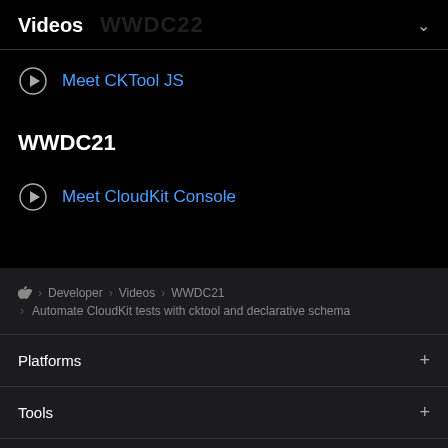Videos
Meet CKTool JS
WWDC21
Meet CloudKit Console
Developer > Videos > WWDC21 > Automate CloudKit tests with cktool and declarative schema
Platforms
Tools
Topics & Technologies